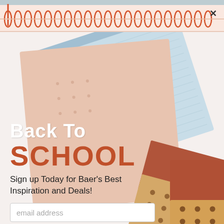[Figure (photo): Back to school promotional banner showing colorful notebooks and school supplies in blue, peach, rust, and tan with polka dots, arranged fanwise on a white background. Top area has a spiral notebook binding graphic in orange/red against a light peach bar.]
Back To SCHOOL
Sign up Today for Baer's Best Inspiration and Deals!
email address